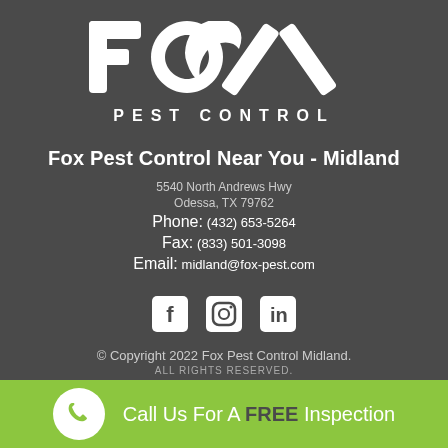[Figure (logo): Fox Pest Control logo — large white FOX letters with a fox tail swoosh through the O, and 'PEST CONTROL' in wide-spaced white capitals below]
Fox Pest Control Near You - Midland
5540 North Andrews Hwy
Odessa, TX 79762
Phone: (432) 653-5264
Fax: (833) 501-3098
Email: midland@fox-pest.com
[Figure (illustration): Social media icons: Facebook, Instagram, LinkedIn — white square icons]
© Copyright 2022 Fox Pest Control Midland.
ALL RIGHTS RESERVED.
Call Us For A FREE Inspection